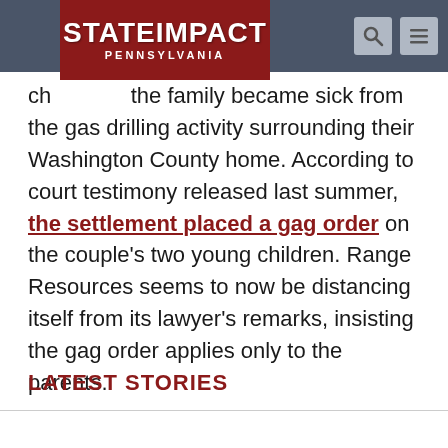StateImpact Pennsylvania
ch… …g p… the family became sick from the gas drilling activity surrounding their Washington County home. According to court testimony released last summer, the settlement placed a gag order on the couple's two young children. Range Resources seems to now be distancing itself from its lawyer's remarks, insisting the gag order applies only to the parents.
LATEST STORIES